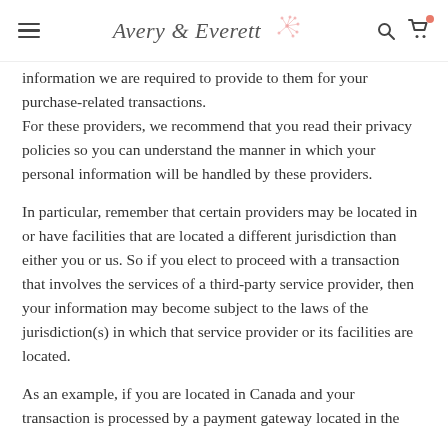Avery & Everett
information we are required to provide to them for your purchase-related transactions. For these providers, we recommend that you read their privacy policies so you can understand the manner in which your personal information will be handled by these providers.
In particular, remember that certain providers may be located in or have facilities that are located a different jurisdiction than either you or us. So if you elect to proceed with a transaction that involves the services of a third-party service provider, then your information may become subject to the laws of the jurisdiction(s) in which that service provider or its facilities are located.
As an example, if you are located in Canada and your transaction is processed by a payment gateway located in the